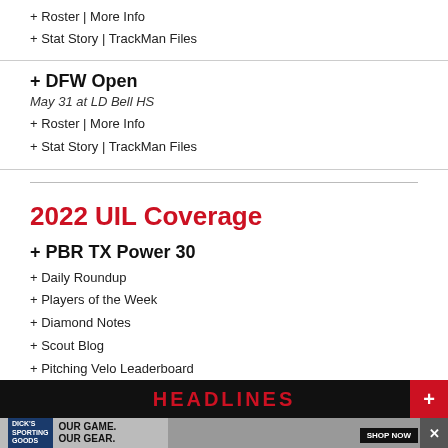+ Roster | More Info
+ Stat Story | TrackMan Files
+ DFW Open
May 31 at LD Bell HS
+ Roster | More Info
+ Stat Story | TrackMan Files
2022 UIL Coverage
+ PBR TX Power 30
+ Daily Roundup
+ Players of the Week
+ Diamond Notes
+ Scout Blog
+ Pitching Velo Leaderboard
HEADLINES
[Figure (photo): Advertisement banner from Dick's Sporting Goods: OUR GAME. OUR GEAR. SHOP NOW]